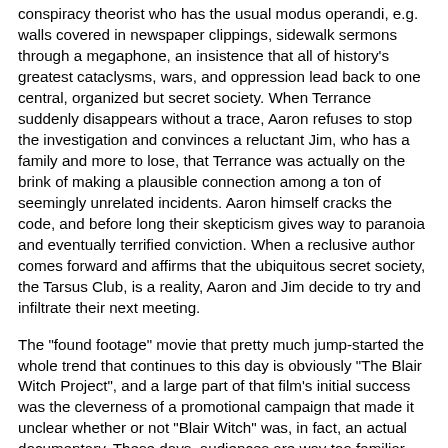conspiracy theorist who has the usual modus operandi, e.g. walls covered in newspaper clippings, sidewalk sermons through a megaphone, an insistence that all of history's greatest cataclysms, wars, and oppression lead back to one central, organized but secret society. When Terrance suddenly disappears without a trace, Aaron refuses to stop the investigation and convinces a reluctant Jim, who has a family and more to lose, that Terrance was actually on the brink of making a plausible connection among a ton of seemingly unrelated incidents. Aaron himself cracks the code, and before long their skepticism gives way to paranoia and eventually terrified conviction. When a reclusive author comes forward and affirms that the ubiquitous secret society, the Tarsus Club, is a reality, Aaron and Jim decide to try and infiltrate their next meeting.
The "found footage" movie that pretty much jump-started the whole trend that continues to this day is obviously "The Blair Witch Project", and a large part of that film's initial success was the cleverness of a promotional campaign that made it unclear whether or not "Blair Witch" was, in fact, an actual documentary. These days, audiences are way too familiar with this approach, and even the claim in a movie's titles of "Inspired by a true story" doesn't carry the weight it once did. But now, with "The Conspiracy", we get a very different and very welcome riff on the formula. We're obviously watching something that is basically fiction, but that's not the point.